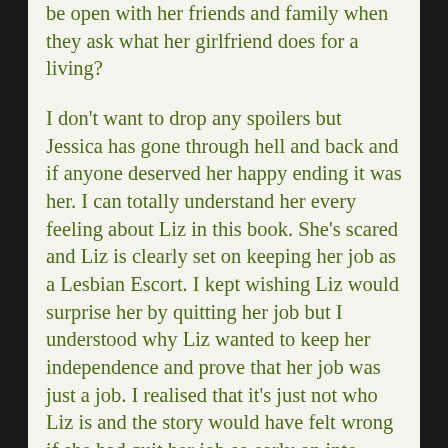be open with her friends and family when they ask what her girlfriend does for a living?
I don't want to drop any spoilers but Jessica has gone through hell and back and if anyone deserved her happy ending it was her. I can totally understand her every feeling about Liz in this book. She's scared and Liz is clearly set on keeping her job as a Lesbian Escort. I kept wishing Liz would surprise her by quitting her job but I understood why Liz wanted to keep her independence and prove that her job was just a job. I realised that it's just not who Liz is and the story would have felt wrong if she had quit her job so early on into